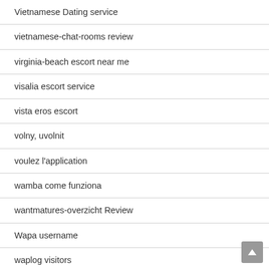Vietnamese Dating service
vietnamese-chat-rooms review
virginia-beach escort near me
visalia escort service
vista eros escort
volny, uvolnit
voulez l'application
wamba come funziona
wantmatures-overzicht Review
Wapa username
waplog visitors
warren escort directory